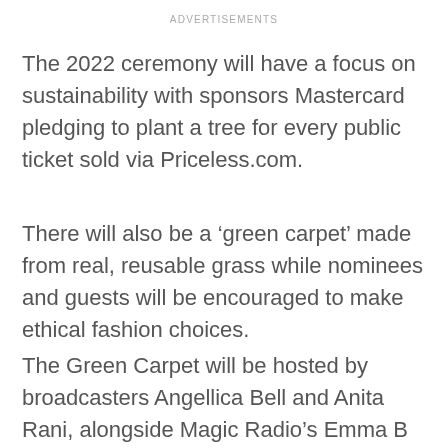ADVERTISEMENTS
The 2022 ceremony will have a focus on sustainability with sponsors Mastercard pledging to plant a tree for every public ticket sold via Priceless.com.
There will also be a ‘green carpet’ made from real, reusable grass while nominees and guests will be encouraged to make ethical fashion choices.
The Green Carpet will be hosted by broadcasters Angellica Bell and Anita Rani, alongside Magic Radio’s Emma B and Frank DiLella, streamed live on the Official London Theatre YouTube channel.